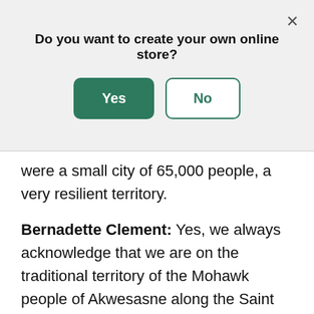Do you want to create your own online store?
Yes | No
were a small city of 65,000 people, a very resilient territory.
Bernadette Clement: Yes, we always acknowledge that we are on the traditional territory of the Mohawk people of Akwesasne along the Saint Lawrence River. So, I think that the beauty of this size of community is that you can spring into action, and you actually know the local businesses. We know them by name. And so, when we went into a provincial declaration of emergency here, we heard that